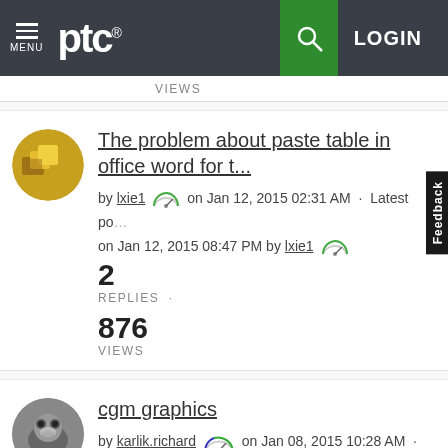PTC — MENU | LOGIN
VIEWS
The problem about paste table in office word for t...
by lxie1 on Jan 12, 2015 02:31 AM · Latest post on Jan 12, 2015 08:47 PM by lxie1
2
REPLIES
876
VIEWS
cgm graphics
by karlik.richard on Jan 08, 2015 10:28 AM · Latest post on Jan 12, 2015 02:07 AM by karlik.richard